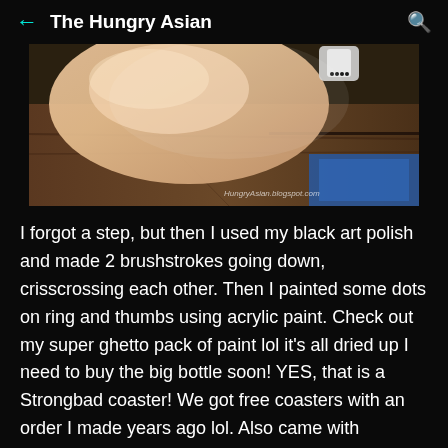The Hungry Asian
[Figure (photo): Close-up photo of a hand/finger near a nail polish bottle on a wooden surface with a blue coaster visible, watermarked with 'HungryAsian.blogspot.com']
I forgot a step, but then I used my black art polish and made 2 brushstrokes going down, crisscrossing each other. Then I painted some dots on ring and thumbs using acrylic paint. Check out my super ghetto pack of paint lol it's all dried up I need to buy the big bottle soon! YES, that is a Strongbad coaster! We got free coasters with an order I made years ago lol. Also came with